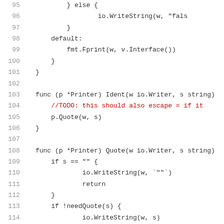[Figure (screenshot): Source code screenshot showing Go programming language code. Lines 95-116 visible. Contains code for functions with line numbers on the left in gray, code in dark/black, and a comment in red on line 104.]